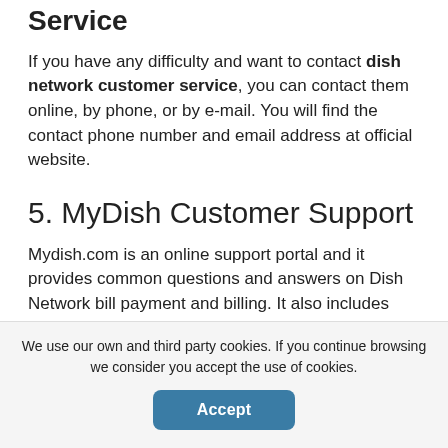Service
If you have any difficulty and want to contact dish network customer service, you can contact them online, by phone, or by e-mail. You will find the contact phone number and email address at official website.
5. MyDish Customer Support
Mydish.com is an online support portal and it provides common questions and answers on Dish Network bill payment and billing. It also includes topics such as pay-per-view fees,
We use our own and third party cookies. If you continue browsing we consider you accept the use of cookies.